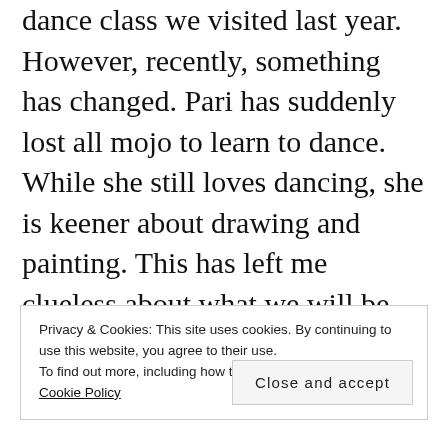dance class we visited last year. However, recently, something has changed. Pari has suddenly lost all mojo to learn to dance. While she still loves dancing, she is keener about drawing and painting. This has left me clueless about what we will be doing these summer holidays that are hardly a month away.
This confusion stems from the fact that I want
Privacy & Cookies: This site uses cookies. By continuing to use this website, you agree to their use.
To find out more, including how to control cookies, see here: Cookie Policy
Close and accept